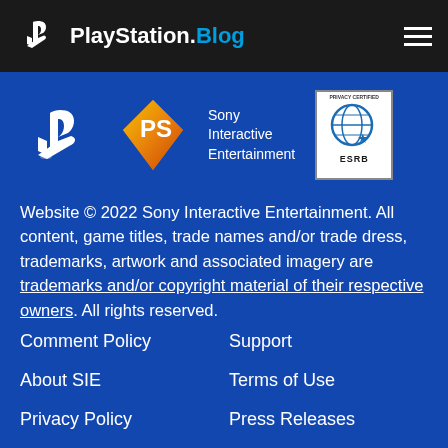PlayStation.Blog
[Figure (logo): PlayStation logo, Sony Interactive Entertainment logo (orange diamond with PS symbol), and ESRB Privacy Certified badge]
Website © 2022 Sony Interactive Entertainment. All content, game titles, trade names and/or trade dress, trademarks, artwork and associated imagery are trademarks and/or copyright material of their respective owners. All rights reserved.
Comment Policy
Support
About SIE
Terms of Use
Privacy Policy
Press Releases